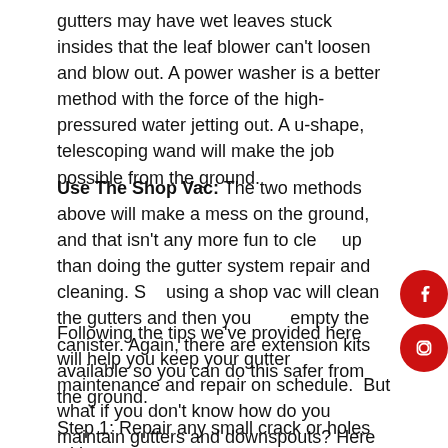gutters may have wet leaves stuck insides that the leaf blower can't loosen and blow out. A power washer is a better method with the force of the high-pressured water jetting out. A u-shape, telescoping wand will make the job possible from the ground.
Use The Shop Vac: The two methods above will make a mess on the ground, and that isn't any more fun to clean up than doing the gutter system repair and cleaning. So, using a shop vac will clean the gutters and then you empty the canister. Again, there are extension kits available so you can do this safer from the ground.
Following the tips we've provided here will help you keep your gutter maintenance and repair on schedule.  But what if you don't know how do you maintain gutters and downspouts? Here are a few steps to help you with this process:
Step 1: Repair any small crack or holes with a gutter